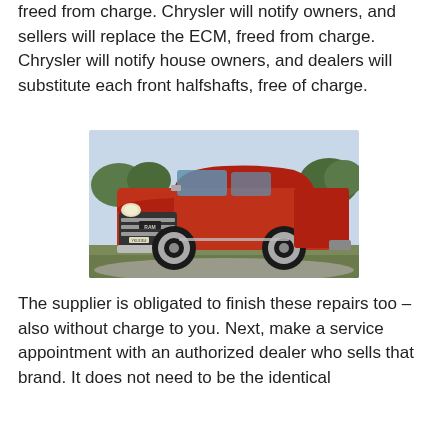freed from charge. Chrysler will notify owners, and sellers will replace the ECM, freed from charge. Chrysler will notify house owners, and dealers will substitute each front halfshafts, free of charge.
[Figure (photo): Red RAM pickup truck (Dodge Ram) parked on a gravel surface with trees and a rural background. The truck has chrome grille, large wheels, and a crew cab body style.]
The supplier is obligated to finish these repairs too – also without charge to you. Next, make a service appointment with an authorized dealer who sells that brand. It does not need to be the identical